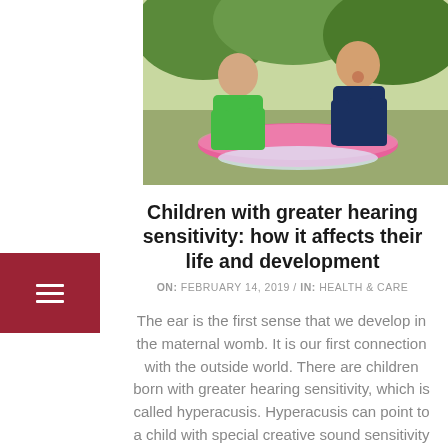[Figure (photo): Two boys playing outdoors with a pink inflatable pool toy; one wearing green shirt, one wearing navy shirt, both smiling and laughing]
Children with greater hearing sensitivity: how it affects their life and development
ON:  FEBRUARY 14, 2019  /   IN:  HEALTH & CARE
The ear is the first sense that we develop in the maternal womb. It is our first connection with the outside world. There are children born with greater hearing sensitivity, which is called hyperacusis. Hyperacusis can point to a child with special creative sound sensitivity or an acoustic overexposure that